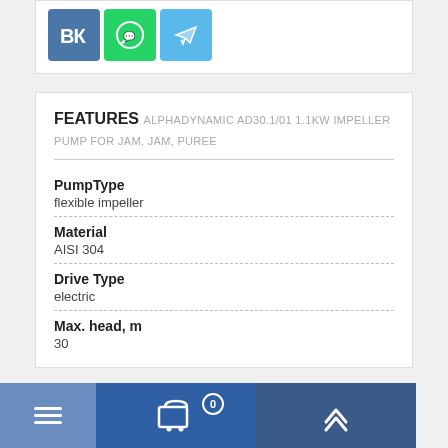[Figure (other): Social media share buttons: VK, WhatsApp, Telegram icons]
FEATURES ALPHADYNAMIC AD30.1/01 1.1KW IMPELLER PUMP FOR JAM, JAM, PUREE
PumpType
flexible impeller
Material
AISI 304
Drive Type
electric
Max. head, m
30